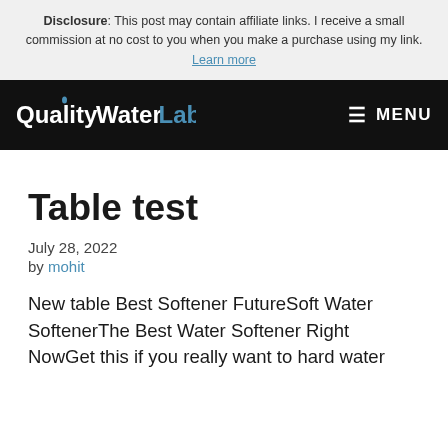Disclosure: This post may contain affiliate links. I receive a small commission at no cost to you when you make a purchase using my link. Learn more
QualityWaterLab MENU
Table test
July 28, 2022
by mohit
New table Best Softener FutureSoft Water SoftenerThe Best Water Softener Right NowGet this if you really want to hard water